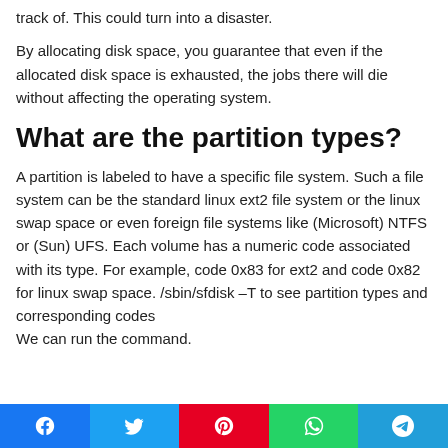track of. This could turn into a disaster.
By allocating disk space, you guarantee that even if the allocated disk space is exhausted, the jobs there will die without affecting the operating system.
What are the partition types?
A partition is labeled to have a specific file system. Such a file system can be the standard linux ext2 file system or the linux swap space or even foreign file systems like (Microsoft) NTFS or (Sun) UFS. Each volume has a numeric code associated with its type. For example, code 0x83 for ext2 and code 0x82 for linux swap space. /sbin/sfdisk –T to see partition types and corresponding codes
We can run the command.